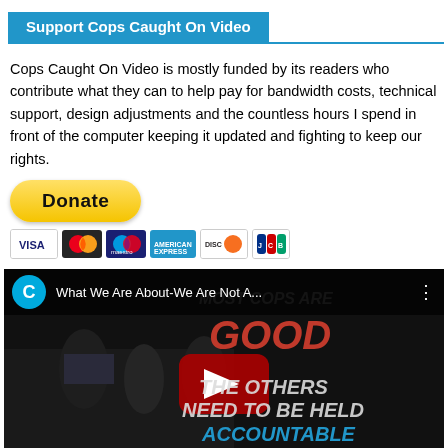Support Cops Caught On Video
Cops Caught On Video is mostly funded by its readers who contribute what they can to help pay for bandwidth costs, technical support, design adjustments and the countless hours I spend in front of the computer keeping it updated and fighting to keep our rights.
[Figure (other): PayPal Donate button (yellow rounded rectangle with bold 'Donate' text) and payment method icons (Visa, Mastercard, Maestro, American Express, Discover, JCB)]
[Figure (screenshot): YouTube video thumbnail showing 'What We Are About-We Are Not A...' with channel avatar 'C', background showing protesters and text overlays 'MOST COPS ARE GOOD' and 'THE OTHERS NEED TO BE HELD ACCOUNTABLE' with YouTube play button]